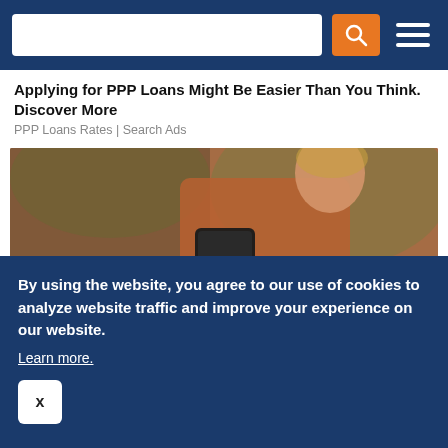Navigation bar with search field and hamburger menu
Applying for PPP Loans Might Be Easier Than You Think. Discover More
PPP Loans Rates | Search Ads
[Figure (photo): Woman in orange/rust top holding a smartphone and credit card outdoors with blurred background]
Excellent Checking Accounts With Higher APYs & Lower
By using the website, you agree to our use of cookies to analyze website traffic and improve your experience on our website. Learn more.